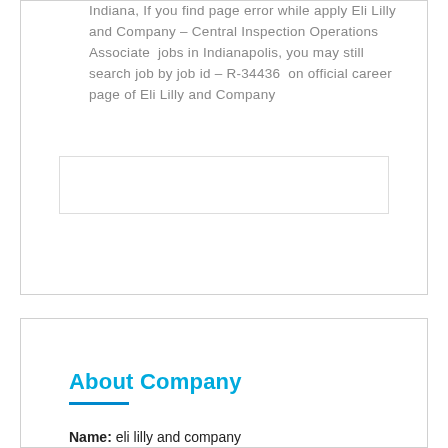Indiana, If you find page error while apply Eli Lilly and Company – Central Inspection Operations Associate jobs in Indianapolis, you may still search job by job id – R-34436 on official career page of Eli Lilly and Company
[Figure (other): Empty search input box with border]
About Company
Name: eli lilly and company
Location: Indianapolis, Indiana